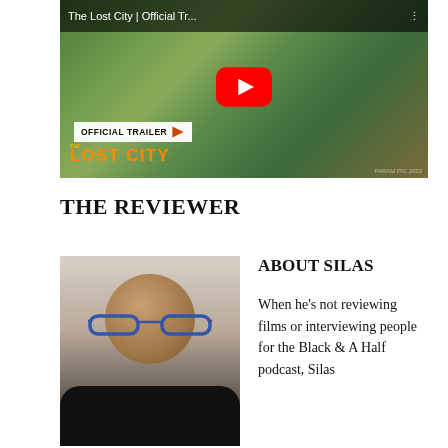[Figure (screenshot): YouTube video thumbnail for 'The Lost City | Official Tr...' showing an action scene with characters on a dirt path. A large red YouTube play button is centered. Bottom-left shows an 'OFFICIAL TRAILER' badge and 'THE LOST CITY' logo text.]
THE REVIEWER
[Figure (photo): Headshot photo of a smiling man with glasses, wearing a black blazer, against a light grey background.]
ABOUT SILAS
When he's not reviewing films or interviewing people for the Black & A Half podcast, Silas